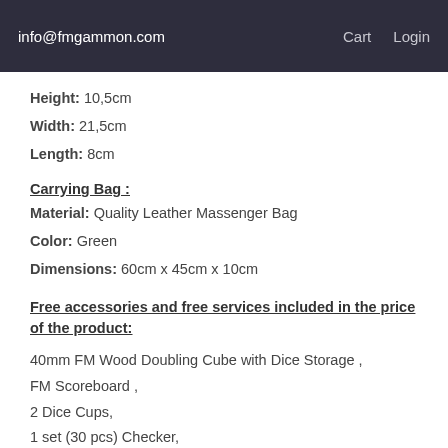info@fmgammon.com   Cart   Login
Height: 10,5cm
Width: 21,5cm
Length: 8cm
Carrying Bag :
Material: Quality Leather Massenger Bag
Color: Green
Dimensions: 60cm x 45cm x 10cm
Free accessories and free services included in the price of the product:
40mm FM Wood Doubling Cube with Dice Storage ,
FM Scoreboard ,
2 Dice Cups,
1 set (30 pcs) Checker,
Carrying Bag,